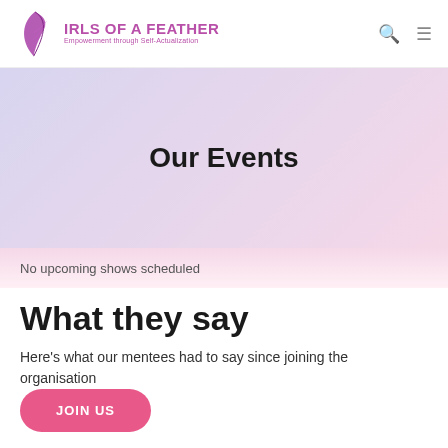GIRLS OF A FEATHER — Empowerment through Self-Actualization
Our Events
No upcoming shows scheduled
What they say
Here's what our mentees had to say since joining the organisation